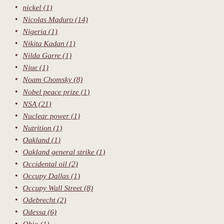nickel (1)
Nicolas Maduro (14)
Nigeria (1)
Nikita Kadan (1)
Nilda Garre (1)
Niue (1)
Noam Chomsky (8)
Nobel peace prize (1)
NSA (21)
Nuclear power (1)
Nutrition (1)
Oakland (1)
Oakland general strike (1)
Occidental oil (2)
Occupy Dallas (1)
Occupy Wall Street (8)
Odebrecht (2)
Odessa (6)
Ohio (1)
oil industry (1)
oil pollution (1)
Oleh Lyashko (1)
oligarchs (6)
Oliver Stone (2)
Ollanta Humala (4)